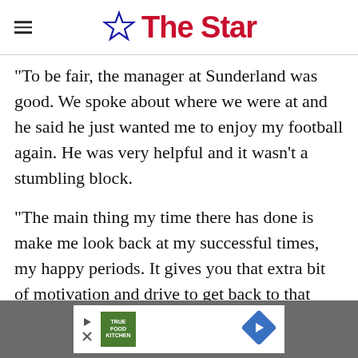The Star
“To be fair, the manager at Sunderland was good. We spoke about where we were at and he said he just wanted me to enjoy my football again. He was very helpful and it wasn’t a stumbling block.
“The main thing my time there has done is make me look back at my successful times, my happy periods. It gives you that extra bit of motivation and drive to get back to that place.
[Figure (other): Advertisement banner for True Food Kitchen with navigation arrows]